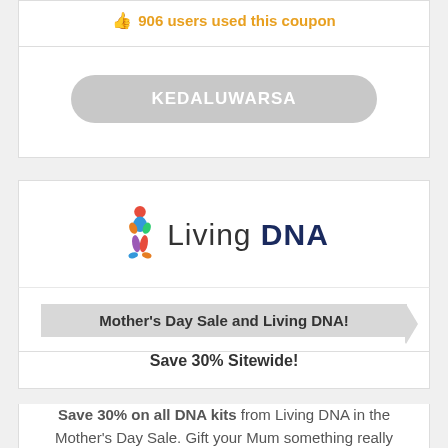👍 906 users used this coupon
KEDALUWARSA
[Figure (logo): Living DNA logo with colorful figure icon and text 'Living DNA' where DNA is bold dark blue]
Mother's Day Sale and Living DNA!
Save 30% Sitewide!
Save 30% on all DNA kits from Living DNA in the Mother's Day Sale. Gift your Mum something really unique, by unlocking the secrets held in her DNA!